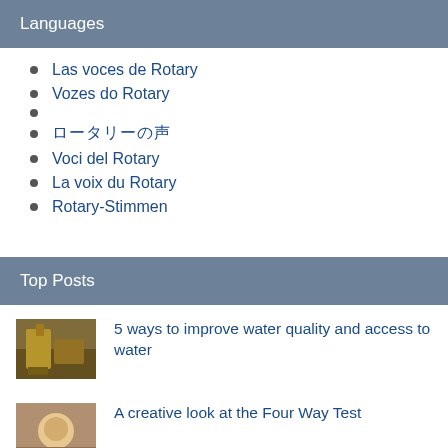Languages
Las voces de Rotary
Vozes do Rotary
ロータリーの声
Voci del Rotary
La voix du Rotary
Rotary-Stimmen
Top Posts
5 ways to improve water quality and access to water
A creative look at the Four Way Test